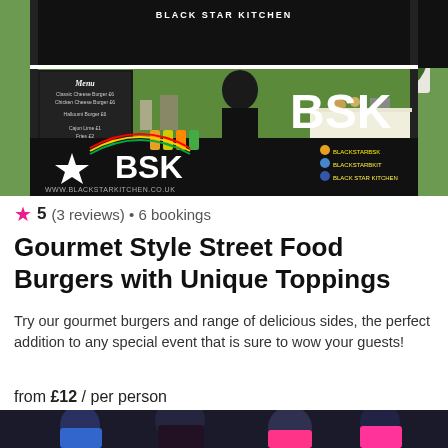[Figure (photo): Black Star Kitchen food stall with a black canopy tent, BSK branding banner showing star logo and website www.blackstarkitchen.co.uk, menu chalkboard on left, and a person behind the counter. Green grass field visible in background.]
5 (3 reviews) • 6 bookings
Gourmet Style Street Food Burgers with Unique Toppings
Try our gourmet burgers and range of delicious sides, the perfect addition to any special event that is sure to wow your guests!
from £12 / per person
[Figure (photo): Partial view of a second photo showing people at the bottom of the page, cropped.]